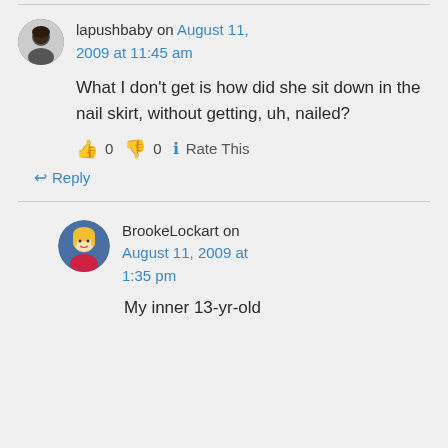lapushbaby on August 11, 2009 at 11:45 am
What I don't get is how did she sit down in the nail skirt, without getting, uh, nailed?
👍 0 👎 0 ℹ Rate This
↩ Reply
BrookeLockart on August 11, 2009 at 1:35 pm
My inner 13-yr-old